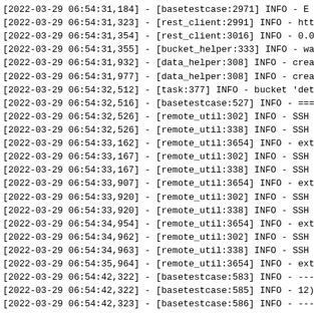[2022-03-29 06:54:31,184] - [basetestcase:2971] INFO - E
[2022-03-29 06:54:31,323] - [rest_client:2991] INFO - htt
[2022-03-29 06:54:31,354] - [rest_client:3016] INFO - 0.0
[2022-03-29 06:54:31,355] - [bucket_helper:333] INFO - wa
[2022-03-29 06:54:31,932] - [data_helper:308] INFO - crea
[2022-03-29 06:54:31,977] - [data_helper:308] INFO - crea
[2022-03-29 06:54:32,512] - [task:377] INFO - bucket 'det
[2022-03-29 06:54:32,516] - [basetestcase:527] INFO - ===
[2022-03-29 06:54:32,526] - [remote_util:302] INFO - SSH
[2022-03-29 06:54:32,526] - [remote_util:338] INFO - SSH
[2022-03-29 06:54:33,162] - [remote_util:3654] INFO - ext
[2022-03-29 06:54:33,167] - [remote_util:302] INFO - SSH
[2022-03-29 06:54:33,167] - [remote_util:338] INFO - SSH
[2022-03-29 06:54:33,907] - [remote_util:3654] INFO - ext
[2022-03-29 06:54:33,920] - [remote_util:302] INFO - SSH
[2022-03-29 06:54:33,920] - [remote_util:338] INFO - SSH
[2022-03-29 06:54:34,954] - [remote_util:3654] INFO - ext
[2022-03-29 06:54:34,962] - [remote_util:302] INFO - SSH
[2022-03-29 06:54:34,963] - [remote_util:338] INFO - SSH
[2022-03-29 06:54:35,964] - [remote_util:3654] INFO - ext
[2022-03-29 06:54:42,322] - [basetestcase:583] INFO - ---
[2022-03-29 06:54:42,322] - [basetestcase:585] INFO - 12)
[2022-03-29 06:54:42,323] - [basetestcase:586] INFO - ---
[2022-03-29 06:54:42,323] - [basetestcase:559] INFO - Tim
[2022-03-29 06:54:42,329] - [newtuq:21] INFO - Initial st
[2022-03-29 06:54:42,329] - [newtuq:26] INFO - current st
[2022-03-29 06:54:42,336] - [newtuq:21] INFO - Initial st
[2022-03-29 06:54:42,336] - [newtuq:26] INFO - current st
[2022-03-29 06:54:42,343] - [newtuq:21] INFO - Initial st
[2022-03-29 06:54:42,344] - [newtuq:26] INFO - current st